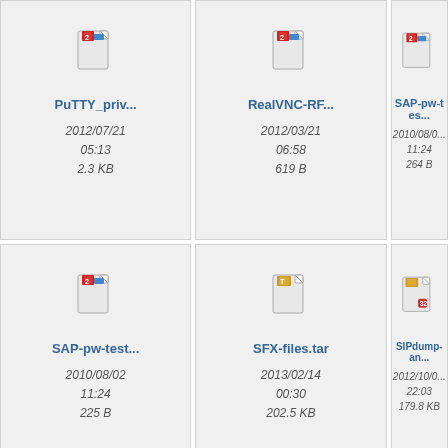[Figure (other): File icon for PuTTY_priv...]
PuTTY_priv...
2012/07/21
05:13
2.3 KB
[Figure (other): File icon for RealVNC-RF...]
RealVNC-RF...
2012/03/21
06:58
619 B
[Figure (other): File icon for SAP-pw-tes...]
SAP-pw-tes...
2010/08/0...
11:24
264 B
[Figure (other): File icon for SAP-pw-test...]
SAP-pw-test...
2010/08/02
11:24
225 B
[Figure (other): File icon for SFX-files.tar]
SFX-files.tar
2013/02/14
00:30
202.5 KB
[Figure (other): File icon for SIPdump-an...]
SIPdump-an...
2012/10/0...
22:03
179.8 KB
[Figure (screenshot): Screenshot thumbnail in bottom row]
[Figure (screenshot): Screenshot thumbnail in bottom row]